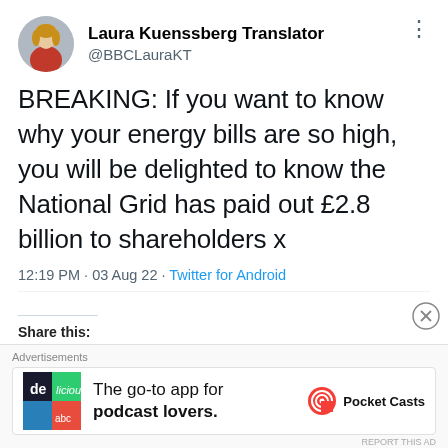[Figure (other): Twitter/X post screenshot from Laura Kuenssberg Translator (@BBCLauraKT) with circular avatar photo of a woman in red jacket]
Laura Kuenssberg Translator
@BBCLauraKT
BREAKING: If you want to know why your energy bills are so high, you will be delighted to know the National Grid has paid out £2.8 billion to shareholders x
12:19 PM · 03 Aug 22 · Twitter for Android
Share this:
Advertisements
The go-to app for podcast lovers.  Pocket Casts